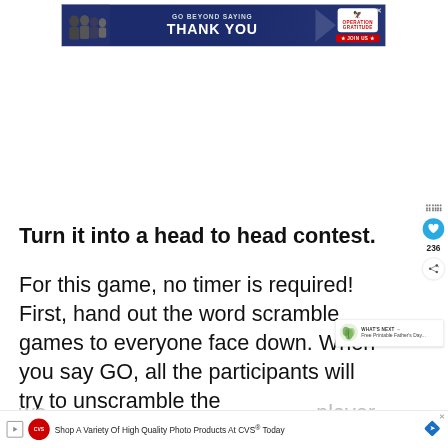[Figure (screenshot): Advertisement banner: 'GO BEYOND SAYING THANK YOU' with Operation Gratitude logo and JOIN US button]
Turn it into a head to head contest.
For this game, no timer is required! First, hand out the word scramble games to everyone face down. When you say GO, all the participants will try to unscramble the wo... player
[Figure (screenshot): WHAT'S NEXT callout: 'Free Printable Father's Day...' with leaf icon]
[Figure (screenshot): CVS Pharmacy advertisement: 'Shop A Variety Of High Quality Photo Products At CVS® Today']